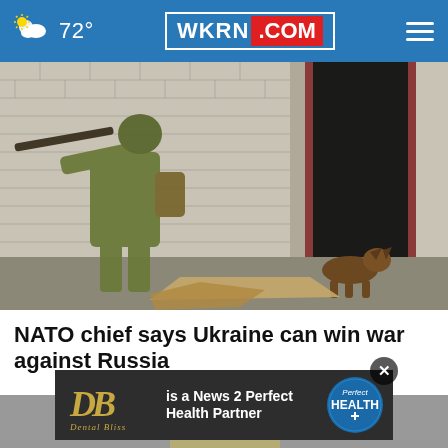72° WKRN.COM
[Figure (photo): Ukrainian soldier in military camouflage gear holding a rifle, moving past a brick wall building with an open doorway. A German shepherd dog is visible near the doorway. Debris including a flat piece of cardboard/wood is on the ground.]
NATO chief says Ukraine can win war against Russia
[Figure (photo): Partially visible second news photo showing a person with light-colored hair, with an advertisement overlay in foreground.]
[Figure (infographic): Advertisement banner: Dental Bliss logo on dark background with text 'is a News 2 Perfect Health Partner' and Perfect Health circular badge logo.]